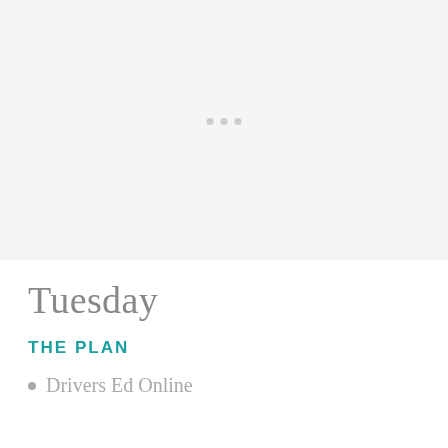[Figure (other): Light gray placeholder image area with three small gray dots centered near the middle]
Tuesday
THE PLAN
Drivers Ed Online